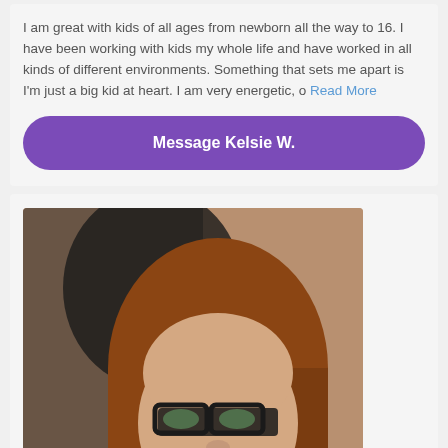I am great with kids of all ages from newborn all the way to 16. I have been working with kids my whole life and have worked in all kinds of different environments. Something that sets me apart is I'm just a big kid at heart. I am very energetic, o Read More
Message Kelsie W.
[Figure (photo): Photo of Britny C, a young woman with long reddish-brown hair and glasses, wearing a red top, smiling.]
Britny C